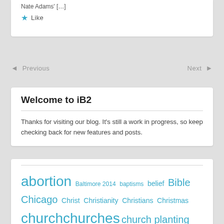Nate Adams' […]
★ Like
◄ Previous
Next ►
Welcome to iB2
Thanks for visiting our blog. It's still a work in progress, so keep checking back for new features and posts.
abortion  Baltimore 2014  baptisms  belief  Bible  Chicago  Christ  Christianity  Christians  Christmas  church  churches  church planting